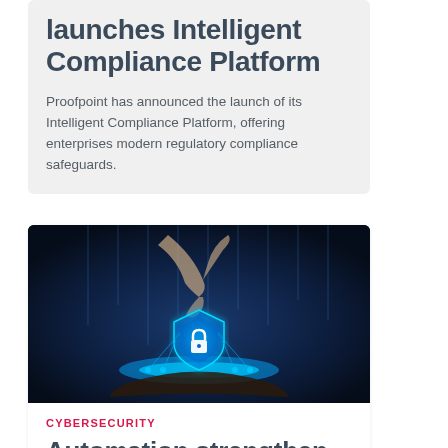launches Intelligent Compliance Platform
Proofpoint has announced the launch of its Intelligent Compliance Platform, offering enterprises modern regulatory compliance safeguards.
[Figure (photo): A hand holding a glowing blue security shield with a padlock icon, surrounded by digital data streams and circuit elements on a dark blue background, representing cybersecurity.]
CYBERSECURITY
Automation strengthen security